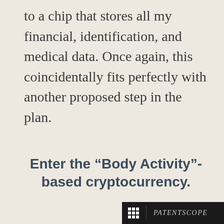to a chip that stores all my financial, identification, and medical data. Once again, this coincidentally fits perfectly with another proposed step in the plan.
Enter the “Body Activity”-based cryptocurrency.
[Figure (screenshot): PATENTSCOPE website screenshot showing navigation bar with Feedback, Search, Browse, Tools, Settings links, and a search result: '1. WO2020060606 - CRYPTOCURRENCY SYSTEM USING BODY ACTIVITY DATA']